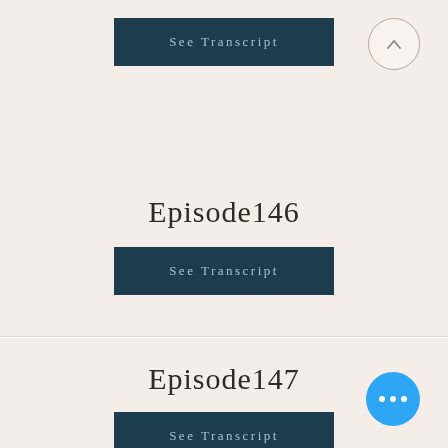[Figure (screenshot): Dark teal 'See Transcript' button in top card (partial)]
[Figure (illustration): Circular up-arrow navigation button in top-right of top card]
Episode146
[Figure (screenshot): Dark teal 'See Transcript' button for Episode 146]
Episode147
[Figure (screenshot): Dark teal 'See Transcript' button for Episode 147 (partial)]
[Figure (illustration): Circular blue three-dots menu button in bottom-right]